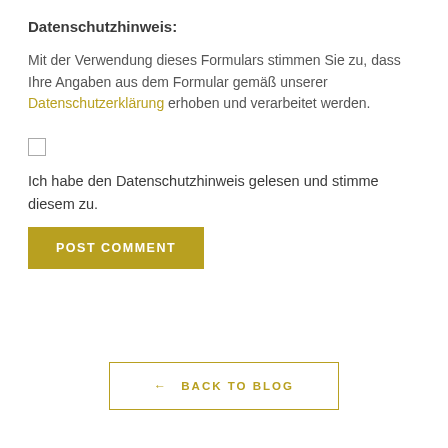Datenschutzhinweis:
Mit der Verwendung dieses Formulars stimmen Sie zu, dass Ihre Angaben aus dem Formular gemäß unserer Datenschutzerklärung erhoben und verarbeitet werden.
[Figure (other): Unchecked checkbox for consent]
Ich habe den Datenschutzhinweis gelesen und stimme diesem zu.
POST COMMENT
← BACK TO BLOG